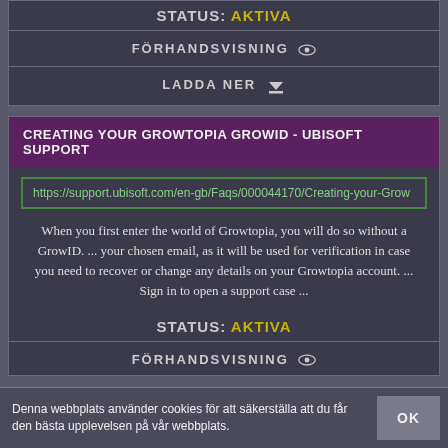STATUS: AKTIVA
FÖRHANDSVISNING 👁
LADDA NER ⬇
CREATING YOUR GROWTOPIA GROWID - UBISOFT SUPPORT
https://support.ubisoft.com/en-gb/Faqs/000044170/Creating-your-Grow
When you first enter the world of Growtopia, you will do so without a GrowID. ... your chosen email, as it will be used for verification in case you need to recover or change any details on your Growtopia account. ... Sign in to open a support case ...
STATUS: AKTIVA
FÖRHANDSVISNING 👁
Denna webbplats använder cookies för att säkerställa att du får den bästa upplevelsen på vår webbplats.